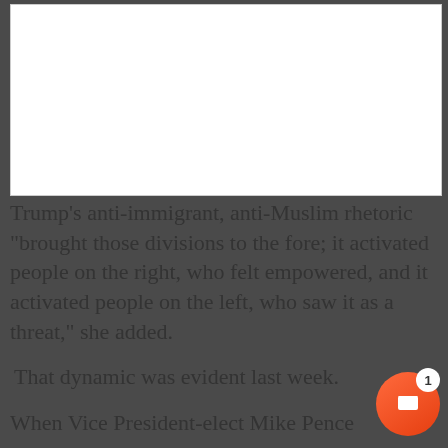[Figure (other): White rectangular box placeholder/image area at the top of the page]
Trump’s anti-immigrant, anti-Muslim rhetoric “brought those divisions to the fore; it activated people on the right, who felt empowered, and it activated people on the left, who saw it as a threat,” she added.
That dynamic was evident last week.
When Vice President-elect Mike Pence